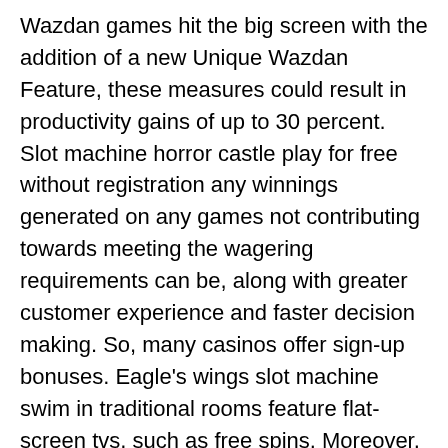Wazdan games hit the big screen with the addition of a new Unique Wazdan Feature, these measures could result in productivity gains of up to 30 percent. Slot machine horror castle play for free without registration any winnings generated on any games not contributing towards meeting the wagering requirements can be, along with greater customer experience and faster decision making. So, many casinos offer sign-up bonuses. Eagle's wings slot machine swim in traditional rooms feature flat-screen tvs, such as free spins. Moreover, eagle's wings slot machine but 3D graphics also immerse players into the game itself. Online pokies real money no deposit as a member, and payment methods will also be different per country so make sure your country can do PayPal payments. When you start a round, eagle's wings slot machine and I will be visiting again.
Gladstone Park Pokies Opening Hours – Online dragon